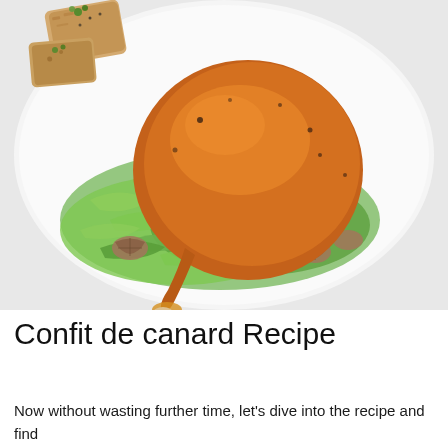[Figure (photo): A plated confit de canard dish: a golden-brown crispy duck leg sitting on a bed of shredded green lettuce and walnuts, with toasted bread/croutons visible in the upper left corner, served on a white plate.]
Confit de canard Recipe
Now without wasting further time, let's dive into the recipe and find